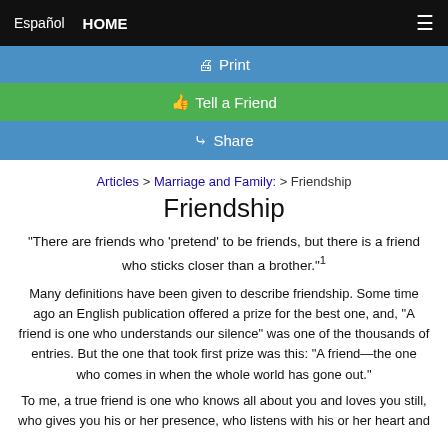Español   HOME   ☰
🖨 Print
👍 Tell a Friend
↪ Share
Articles > Marriage and Family: > Friendship
Friendship
"There are friends who 'pretend' to be friends, but there is a friend who sticks closer than a brother."1
Many definitions have been given to describe friendship. Some time ago an English publication offered a prize for the best one, and, "A friend is one who understands our silence" was one of the thousands of entries. But the one that took first prize was this: "A friend—the one who comes in when the whole world has gone out."
To me, a true friend is one who knows all about you and loves you still, who gives you his or her presence, who listens with his or her heart and